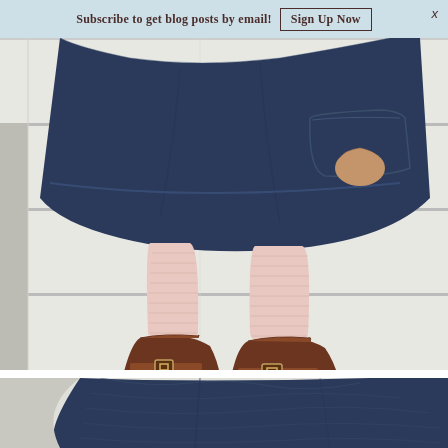Subscribe to get blog posts by email!  Sign Up Now  X
[Figure (photo): Close-up photo of a young child from the waist down, wearing a dark navy/indigo linen or denim dress with subtle woven texture and a large pocket on the right side, light pink ribbed leggings, and brown leather mid-calf boots with buckle straps. The child stands on white painted wooden plank steps or floor.]
[Figure (photo): Partial view of another photo below showing a close-up of the same or similar navy/indigo linen fabric, appearing to be the child's outfit from a different angle.]